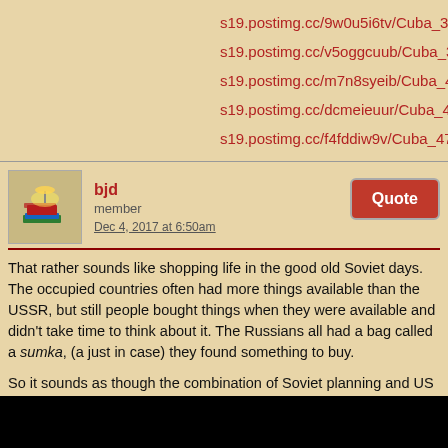s19.postimg.cc/9w0u5i6tv/Cuba_373.jpg
s19.postimg.cc/v5oggcuub/Cuba_374.jpg
s19.postimg.cc/m7n8syeib/Cuba_454.jpg
s19.postimg.cc/dcmeieuur/Cuba_455.jpg
s19.postimg.cc/f4fddiw9v/Cuba_474.jpg
bjd
member
Dec 4, 2017 at 6:50am
That rather sounds like shopping life in the good old Soviet days. The occupied countries often had more things available than the USSR, but still people bought things when they were available and didn't take time to think about it. The Russians all had a bag called a sumka, (a just in case) they found something to buy.
So it sounds as though the combination of Soviet planning and US boycott